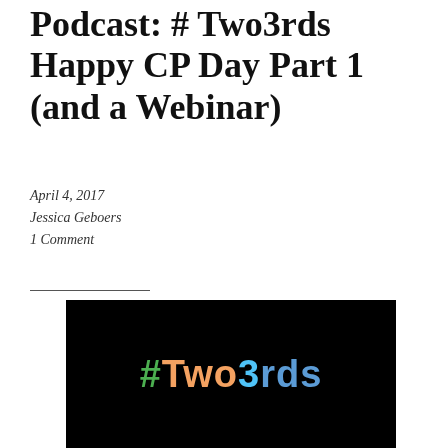Podcast: #Two3rds Happy CP Day Part 1 (and a Webinar)
April 4, 2017
Jessica Geboers
1 Comment
[Figure (photo): Dark background image showing the hashtag #Two3rds in colored text: # in green, Two in orange, 3 in light blue, rds in blue]